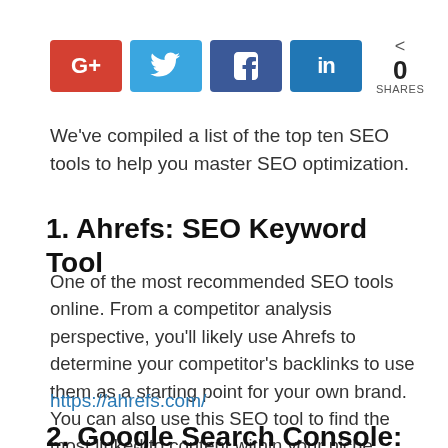[Figure (other): Social share buttons: Google+, Twitter, Facebook, LinkedIn, with share count 0]
We've compiled a list of the top ten SEO tools to help you master SEO optimization.
1. Ahrefs: SEO Keyword Tool
One of the most recommended SEO tools online. From a competitor analysis perspective, you'll likely use Ahrefs to determine your competitor's backlinks to use them as a starting point for your own brand. You can also use this SEO tool to find the most linked to content within your niche.
https://ahrefs.com/
2. Google Search Console: Top SEO Tool